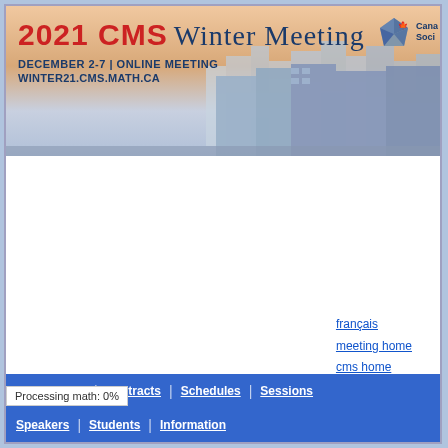[Figure (screenshot): 2021 CMS Winter Meeting banner with city skyline background. Shows title '2021 CMS Winter Meeting', subtitle 'DECEMBER 2-7 | ONLINE MEETING', URL 'WINTER21.CMS.MATH.CA', and CMS logo in top right.]
français
meeting home
cms home
Registration | Abstracts | Schedules | Sessions
Speakers | Students | Information
Processing math: 0%